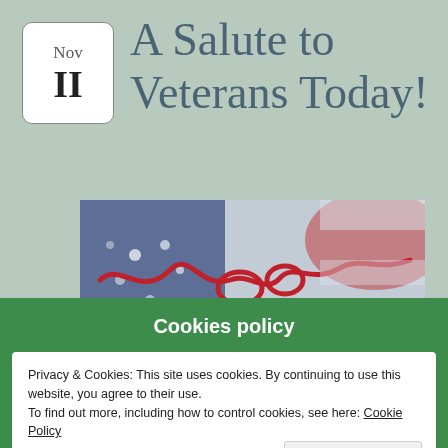A Salute to Veterans Today!
[Figure (photo): Artistic American flag image with red cord/ribbon arranged decoratively on top of a painted flag background with red, white, and blue colors, and a small beaded flag hanging from a stick]
Cookies policy
Privacy & Cookies: This site uses cookies. By continuing to use this website, you agree to their use.
To find out more, including how to control cookies, see here: Cookie Policy
Close and accept